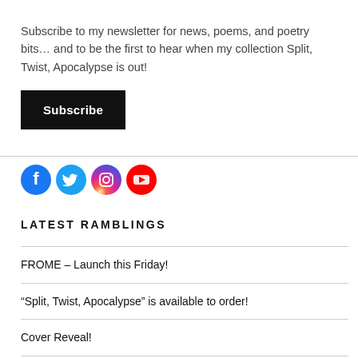Subscribe to my newsletter for news, poems, and poetry bits… and to be the first to hear when my collection Split, Twist, Apocalypse is out!
[Figure (other): Black 'Subscribe' button]
[Figure (other): Social media icons row: Facebook (blue circle), Twitter (light blue circle), Instagram (gradient circle), YouTube (red circle)]
LATEST RAMBLINGS
FROME – Launch this Friday!
“Split, Twist, Apocalypse” is available to order!
Cover Reveal!
Stephanie